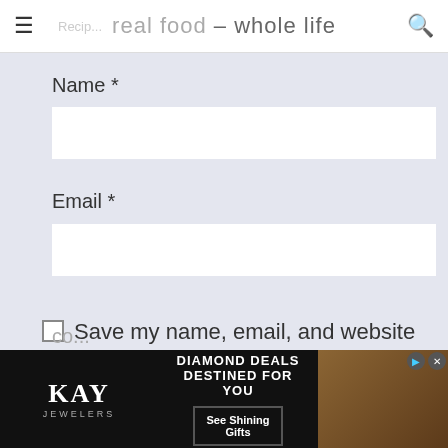real food – whole life
Name *
Email *
Save my name, email, and website in this browser for the next time I comment.
Notify me if Robyn replies to my comment.
[Figure (screenshot): KAY Jewelers advertisement banner: DIAMOND DEALS DESTINED FOR YOU, See Shining Gifts button, photo of woman]